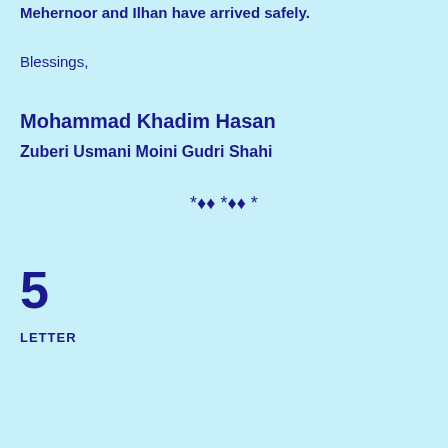Mehernoor and Ilhan have arrived safely.
Blessings,
Mohammad Khadim Hasan
Zuberi Usmani Moini Gudri Shahi
*◆◆ *◆◆ *
5
LETTER